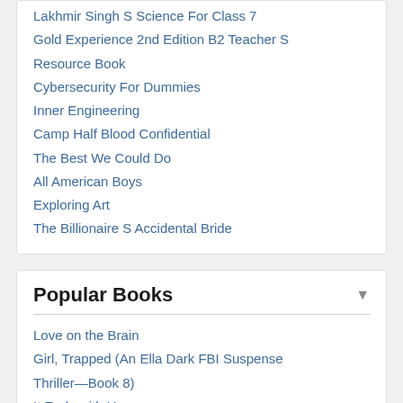Lakhmir Singh S Science For Class 7
Gold Experience 2nd Edition B2 Teacher S Resource Book
Cybersecurity For Dummies
Inner Engineering
Camp Half Blood Confidential
The Best We Could Do
All American Boys
Exploring Art
The Billionaire S Accidental Bride
Popular Books
Love on the Brain
Girl, Trapped (An Ella Dark FBI Suspense Thriller—Book 8)
It Ends with Us
Verity
Soul Taken